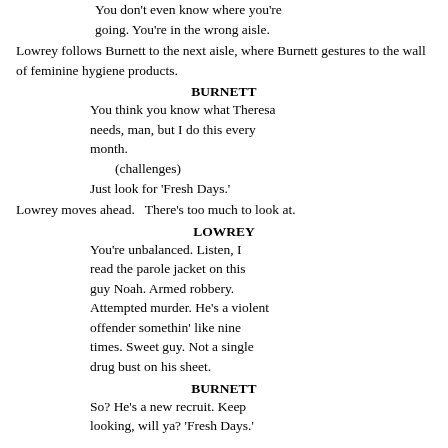You don't even know where you're going. You're in the wrong aisle.
Lowrey follows Burnett to the next aisle, where Burnett gestures to the wall of feminine hygiene products.
BURNETT
You think you know what Theresa needs, man, but I do this every month.
(challenges)
Just look for 'Fresh Days.'
Lowrey moves ahead.   There's too much to look at.
LOWREY
You're unbalanced. Listen, I read the parole jacket on this guy Noah. Armed robbery. Attempted murder. He's a violent offender somethin' like nine times. Sweet guy. Not a single drug bust on his sheet.
BURNETT
So? He's a new recruit. Keep looking, will ya? 'Fresh Days.'
LOWREY
You know, it is a damn shame she makes you buy this stuff.
BURNETT
Hey, this what husband's do.
LOWREY
Terrible fuckin' job.